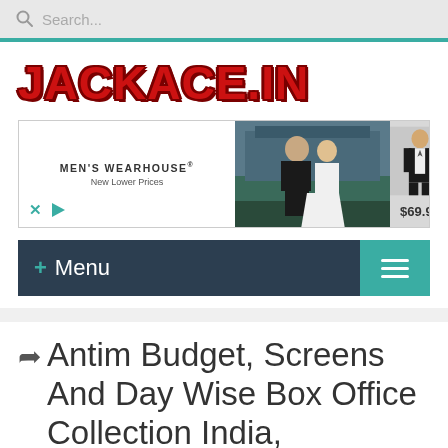Search...
[Figure (logo): JACKACE.IN logo in bold red 3D lettering]
[Figure (infographic): Men's Wearhouse advertisement banner showing a wedding couple and a boy in a suit priced at $69.99]
+ Menu
Antim Budget, Screens And Day Wise Box Office Collection India, Overseas,